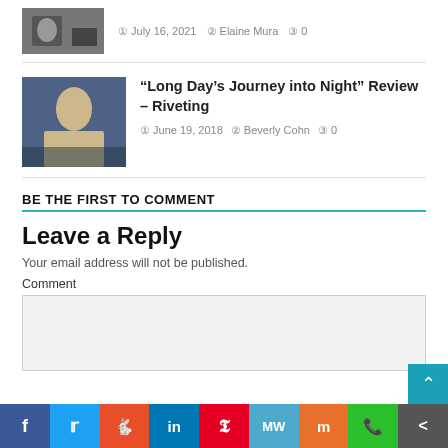[Figure (photo): Thumbnail image of an article, dark/grainy person photo]
July 16, 2021  Elaine Mura  0
[Figure (photo): Thumbnail image for Long Day's Journey into Night review, person seated on stage]
“Long Day’s Journey into Night” Review – Riveting
June 19, 2018  Beverly Cohn  0
BE THE FIRST TO COMMENT
Leave a Reply
Your email address will not be published.
Comment